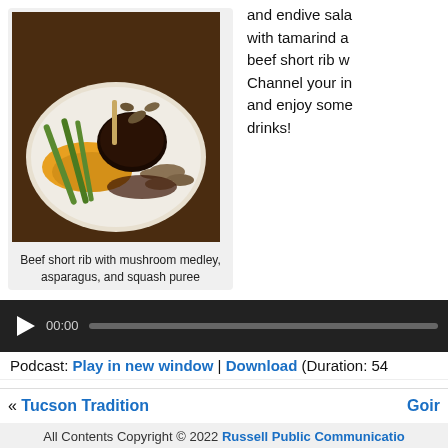[Figure (photo): Beef short rib with mushroom medley, asparagus, and squash puree on a white plate]
Beef short rib with mushroom medley, asparagus, and squash puree
and endive sala with tamarind a beef short rib w Channel your in and enjoy some drinks!
[Figure (other): Audio player with play button, 00:00 timestamp, and progress bar]
Podcast: Play in new window | Download (Duration: 54
« Tucson Tradition
Goir
All Contents Copyright © 2022 Russell Public Communicatio